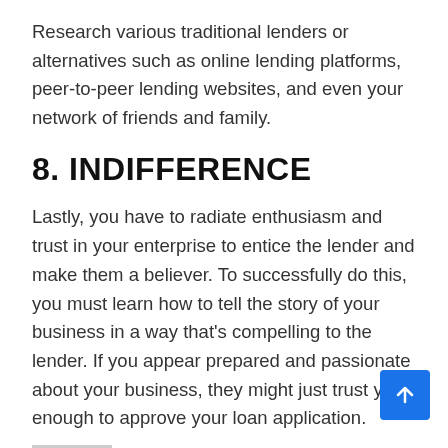Research various traditional lenders or alternatives such as online lending platforms, peer-to-peer lending websites, and even your network of friends and family.
8. INDIFFERENCE
Lastly, you have to radiate enthusiasm and trust in your enterprise to entice the lender and make them a believer. To successfully do this, you must learn how to tell the story of your business in a way that’s compelling to the lender. If you appear prepared and passionate about your business, they might just trust you enough to approve your loan application.